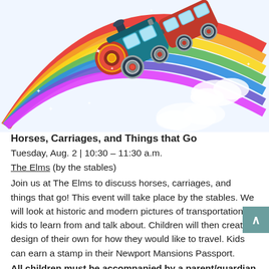[Figure (illustration): Colorful cartoon illustration of a toy train riding on a rainbow arc through clouds. The train is teal and red with golden wheels and a red boiler front. The rainbow track curves from lower-left to upper-right.]
Horses, Carriages, and Things that Go
Tuesday, Aug. 2 | 10:30 – 11:30 a.m.
The Elms (by the stables)
Join us at The Elms to discuss horses, carriages, and things that go! This event will take place by the stables. We will look at historic and modern pictures of transportation for kids to learn from and talk about. Children will then create a design of their own for how they would like to travel. Kids can earn a stamp in their Newport Mansions Passport.
All children must be accompanied by a parent/guardian